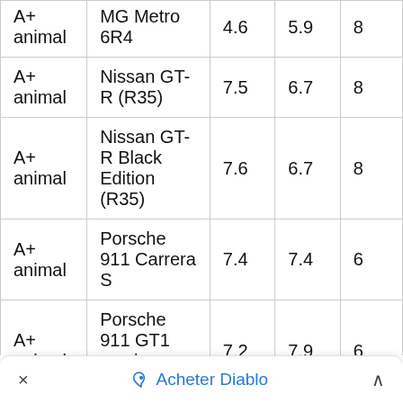| Category | Model | Col3 | Col4 | Col5 |
| --- | --- | --- | --- | --- |
| A+ animal | MG Metro 6R4 | 4.6 | 5.9 | 8 |
| A+ animal | Nissan GT-R (R35) | 7.5 | 6.7 | 8 |
| A+ animal | Nissan GT-R Black Edition (R35) | 7.6 | 6.7 | 8 |
| A+ animal | Porsche 911 Carrera S | 7.4 | 7.4 | 6 |
| A+ animal | Porsche 911 GT1 version route | 7.2 | 7.9 | 6 |
× Acheter Diablo ^